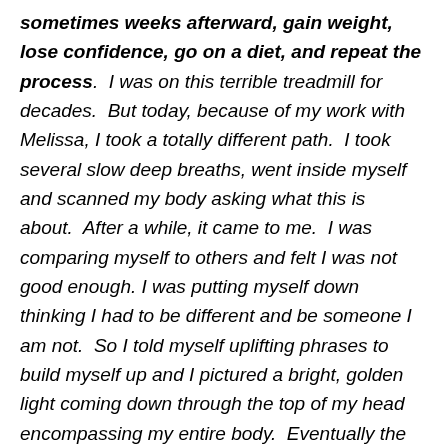sometimes weeks afterward, gain weight, lose confidence, go on a diet, and repeat the process.  I was on this terrible treadmill for decades.  But today, because of my work with Melissa, I took a totally different path.  I took several slow deep breaths, went inside myself and scanned my body asking what this is about.  After a while, it came to me.  I was comparing myself to others and felt I was not good enough. I was putting myself down thinking I had to be different and be someone I am not.  So I told myself uplifting phrases to build myself up and I pictured a bright, golden light coming down through the top of my head encompassing my entire body.  Eventually the nervous energy completely left my body.  I felt awesome